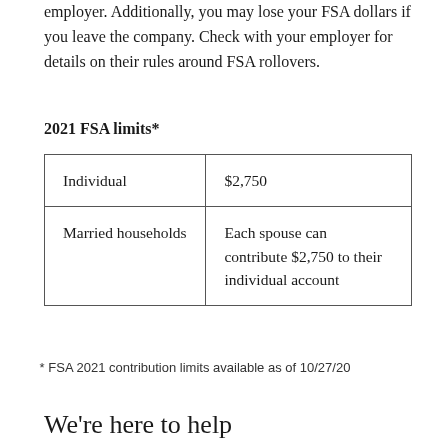employer. Additionally, you may lose your FSA dollars if you leave the company. Check with your employer for details on their rules around FSA rollovers.
2021 FSA limits*
| Individual | $2,750 |
| Married households | Each spouse can contribute $2,750 to their individual account |
* FSA 2021 contribution limits available as of 10/27/20
We're here to help
Need some guidance considering your open enrollment